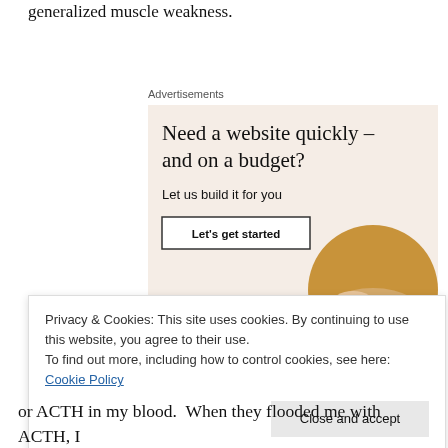generalized muscle weakness.
Advertisements
[Figure (illustration): Advertisement box with beige/cream background. Headline: 'Need a website quickly – and on a budget?' Subtext: 'Let us build it for you'. Button: 'Let's get started'. Circular photo of person's hands working on a laptop, wearing a brown sweater.]
Privacy & Cookies: This site uses cookies. By continuing to use this website, you agree to their use.
To find out more, including how to control cookies, see here: Cookie Policy
or ACTH in my blood.  When they flooded me with ACTH, I